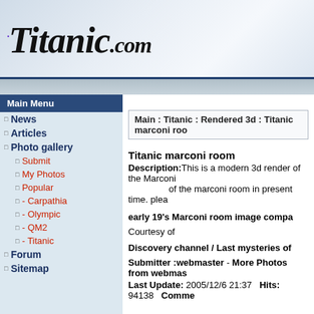Titanic.com
Main Menu
News
Articles
Photo gallery
Submit
My Photos
Popular
- Carpathia
- Olympic
- QM2
- Titanic
Forum
Sitemap
Main : Titanic : Rendered 3d : Titanic marconi roo
Titanic marconi room
Description:This is a modern 3d render of the Marconi room in present time. plea
early 19's Marconi room image compa
Courtesy of
Discovery channel / Last mysteries of
Submitter :webmaster - More Photos from webmas
Last Update: 2005/12/6 21:37   Hits: 94138   Comme